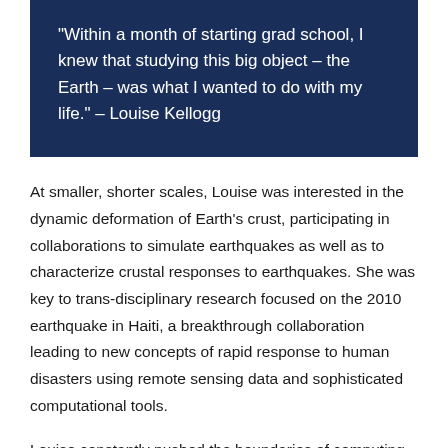"Within a month of starting grad school, I knew that studying this big object – the Earth – was what I wanted to do with my life." – Louise Kellogg
At smaller, shorter scales, Louise was interested in the dynamic deformation of Earth's crust, participating in collaborations to simulate earthquakes as well as to characterize crustal responses to earthquakes. She was key to trans-disciplinary research focused on the 2010 earthquake in Haiti, a breakthrough collaboration leading to new concepts of rapid response to human disasters using remote sensing data and sophisticated computational tools.
Louise constantly pushed the boundaries of computing from the earliest vector computers to today's massively parallel, multicore machines. Her research led to a deep